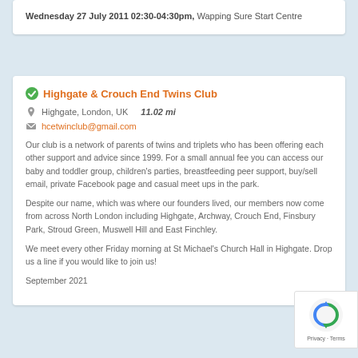Wednesday 27 July 2011 02:30-04:30pm, Wapping Sure Start Centre
Highgate & Crouch End Twins Club
Highgate, London, UK   11.02 mi
hcetwinclub@gmail.com
Our club is a network of parents of twins and triplets who has been offering each other support and advice since 1999. For a small annual fee you can access our baby and toddler group, children's parties, breastfeeding peer support, buy/sell email, private Facebook page and casual meet ups in the park.
Despite our name, which was where our founders lived, our members now come from across North London including Highgate, Archway, Crouch End, Finsbury Park, Stroud Green, Muswell Hill and East Finchley.
We meet every other Friday morning at St Michael's Church Hall in Highgate. Drop us a line if you would like to join us!
September 2021